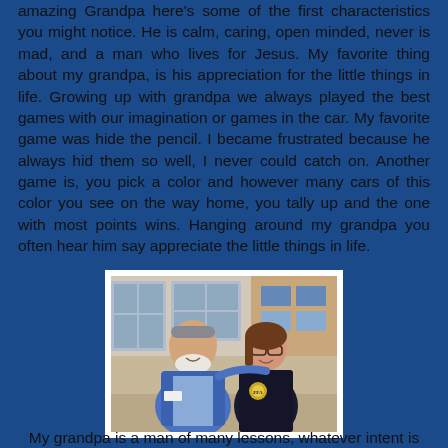amazing Grandpa here's some of the first characteristics you might notice. He is calm, caring, open minded, never is mad, and a man who lives for Jesus. My favorite thing about my grandpa, is his appreciation for the little things in life. Growing up with grandpa we always played the best games with our imagination or games in the car. My favorite game was hide the pencil. I became frustrated because he always hid them so well, I never could catch on. Another game is, you pick a color and however many cars of this color you see on the way home, you tally up and the one with most points wins. Hanging around my grandpa you often hear him say appreciate the little things in life.
[Figure (photo): A man with a white beard wearing a blue shirt and a young woman wearing a dark FFA jacket with a gold emblem, posing together indoors.]
My grandpa is a man of many lessons, whatever intent is